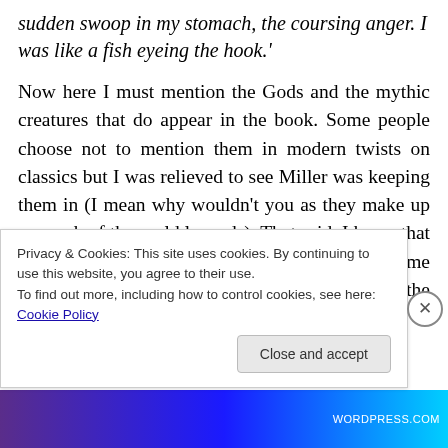sudden swoop in my stomach, the coursing anger. I was like a fish eyeing the hook.'
Now here I must mention the Gods and the mythic creatures that do appear in the book. Some people choose not to mention them in modern twists on classics but I was relieved to see Miller was keeping them in (I mean why wouldn't you as they make up so much of these old legends). That said, I knew that if she didn't make them ring true, or make me conjure them in such a way as I believed in the unbelievable (a small ask) then she would
Privacy & Cookies: This site uses cookies. By continuing to use this website, you agree to their use.
To find out more, including how to control cookies, see here: Cookie Policy
Close and accept